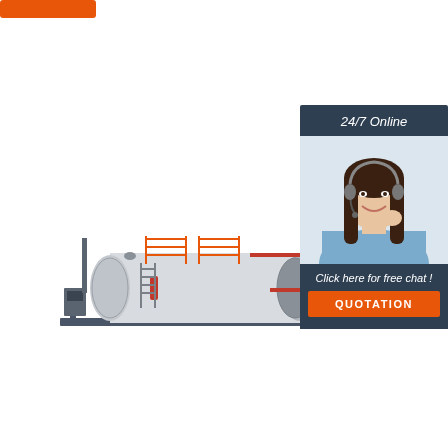[Figure (other): Orange button/banner at top left corner]
[Figure (photo): Industrial steam boiler system with orange pipework and ladders, horizontal cylindrical tank on metal frame]
[Figure (infographic): 24/7 Online customer service panel with photo of woman with headset, 'Click here for free chat!' text, and orange QUOTATION button]